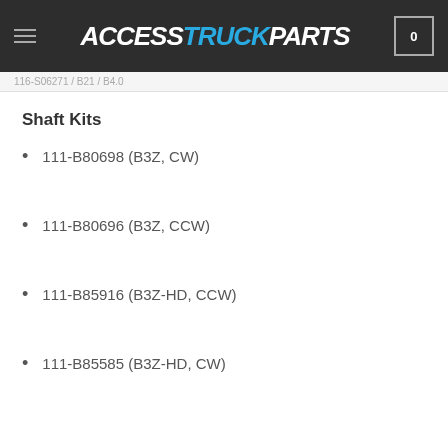ACCESS TRUCK PARTS
Shaft Kits
111-B80698 (B3Z, CW)
111-B80696 (B3Z, CCW)
111-B85916 (B3Z-HD, CCW)
111-B85585 (B3Z-HD, CW)